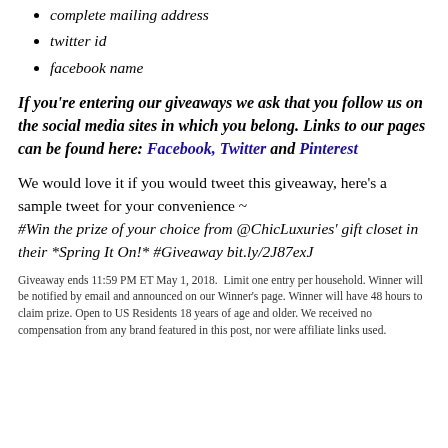complete mailing address
twitter id
facebook name
If you're entering our giveaways we ask that you follow us on the social media sites in which you belong. Links to our pages can be found here: Facebook, Twitter and Pinterest
We would love it if you would tweet this giveaway, here's a sample tweet for your convenience ~ #Win the prize of your choice from @ChicLuxuries' gift closet in their *Spring It On!* #Giveaway bit.ly/2J87exJ
Giveaway ends 11:59 PM ET May 1, 2018.  Limit one entry per household. Winner will be notified by email and announced on our Winner's page. Winner will have 48 hours to claim prize. Open to US Residents 18 years of age and older. We received no compensation from any brand featured in this post, nor were affiliate links used.